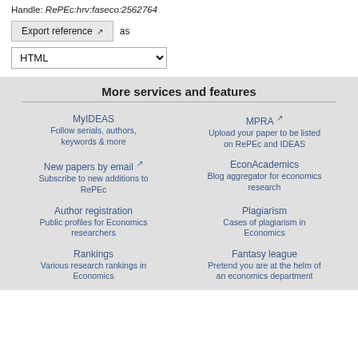Handle: RePEc:hrv:faseco:2562764
Export reference as HTML
More services and features
MyIDEAS
Follow serials, authors, keywords & more
MPRA
Upload your paper to be listed on RePEc and IDEAS
New papers by email
Subscribe to new additions to RePEc
EconAcademics
Blog aggregator for economics research
Author registration
Public profiles for Economics researchers
Plagiarism
Cases of plagiarism in Economics
Rankings
Various research rankings in Economics
Fantasy league
Pretend you are at the helm of an economics department